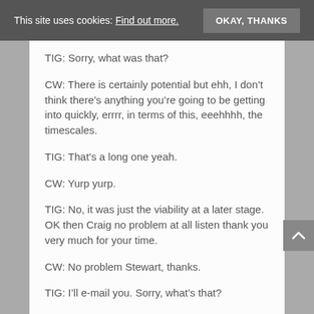This site uses cookies: Find out more. OKAY, THANKS
TIG: Sorry, what was that?
CW: There is certainly potential but ehh, I don't think there's anything you're going to be getting into quickly, errrr, in terms of this, eeehhhh, the timescales.
TIG: That's a long one yeah.
CW: Yurp yurp.
TIG: No, it was just the viability at a later stage. OK then Craig no problem at all listen thank you very much for your time.
CW: No problem Stewart, thanks.
TIG: I'll e-mail you. Sorry, what's that?